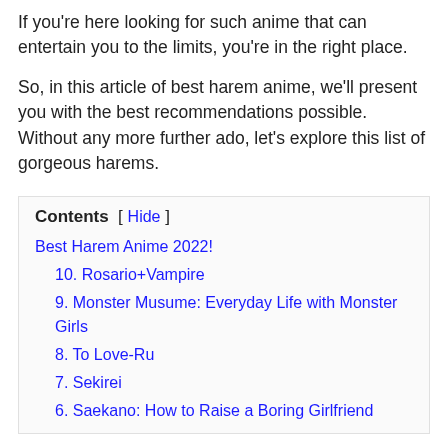If you're here looking for such anime that can entertain you to the limits, you're in the right place.
So, in this article of best harem anime, we'll present you with the best recommendations possible. Without any more further ado, let's explore this list of gorgeous harems.
Contents [ Hide ]
Best Harem Anime 2022!
10. Rosario+Vampire
9. Monster Musume: Everyday Life with Monster Girls
8. To Love-Ru
7. Sekirei
6. Saekano: How to Raise a Boring Girlfriend